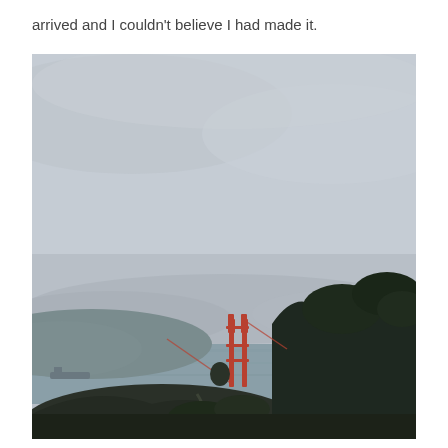arrived and I couldn't believe I had made it.
[Figure (photo): Overcast landscape photo showing the Golden Gate Bridge tower in the distance, with calm water (San Francisco Bay) in the middle ground, rolling dark hills and trees on the right, and a heavily clouded grey sky filling most of the frame. The scene is viewed from an elevated vantage point near the Marin Headlands.]